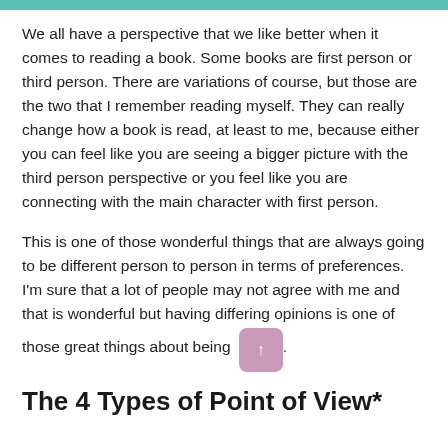We all have a perspective that we like better when it comes to reading a book. Some books are first person or third person. There are variations of course, but those are the two that I remember reading myself. They can really change how a book is read, at least to me, because either you can feel like you are seeing a bigger picture with the third person perspective or you feel like you are connecting with the main character with first person.
This is one of those wonderful things that are always going to be different person to person in terms of preferences. I'm sure that a lot of people may not agree with me and that is wonderful but having differing opinions is one of those great things about being .
The 4 Types of Point of View*